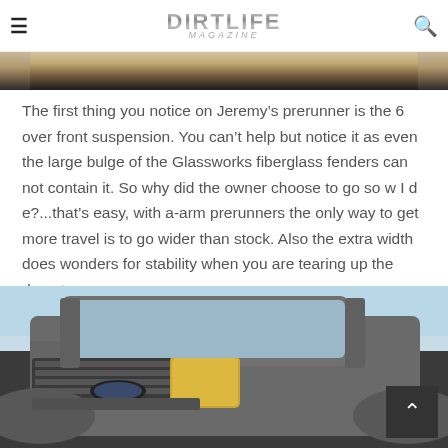DIRTLIFE MAGAZINE
[Figure (photo): Top strip of a desert/dirt landscape photo, cropped]
The first thing you notice on Jeremy’s prerunner is the 6 over front suspension. You can’t help but notice it as even the large bulge of the Glassworks fiberglass fenders can not contain it. So why did the owner choose to go so w I d e?...that’s easy, with a-arm prerunners the only way to get more travel is to go wider than stock. Also the extra width does wonders for stability when you are tearing up the desert.
[Figure (photo): Front view of a Ford Ranger prerunner truck with wide fiberglass fenders, shot from low angle against a blue sky]